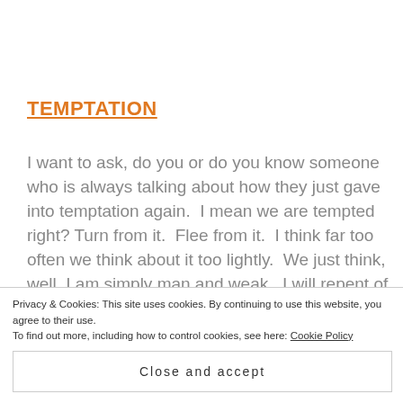TEMPTATION
I want to ask, do you or do you know someone who is always talking about how they just gave into temptation again.  I mean we are tempted right?  Turn from it.  Flee from it.  I think far too often we think about it too lightly.  We just think, well, I am simply man and weak.  I will repent of that again
Privacy & Cookies: This site uses cookies. By continuing to use this website, you agree to their use.
To find out more, including how to control cookies, see here: Cookie Policy
Close and accept